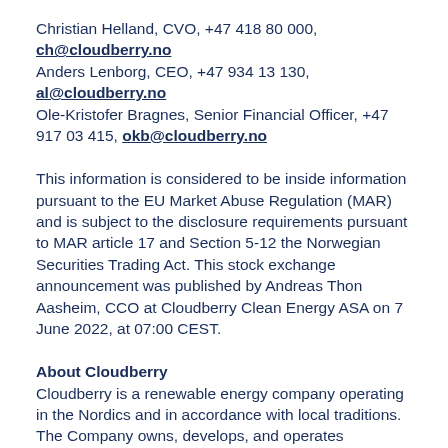Christian Helland, CVO, +47 418 80 000, ch@cloudberry.no Anders Lenborg, CEO, +47 934 13 130, al@cloudberry.no Ole-Kristofer Bragnes, Senior Financial Officer, +47 917 03 415, okb@cloudberry.no
This information is considered to be inside information pursuant to the EU Market Abuse Regulation (MAR) and is subject to the disclosure requirements pursuant to MAR article 17 and Section 5-12 the Norwegian Securities Trading Act. This stock exchange announcement was published by Andreas Thon Aasheim, CCO at Cloudberry Clean Energy ASA on 7 June 2022, at 07:00 CEST.
About Cloudberry
Cloudberry is a renewable energy company operating in the Nordics and in accordance with local traditions. The Company owns, develops, and operates hydropower plants and wind farms in